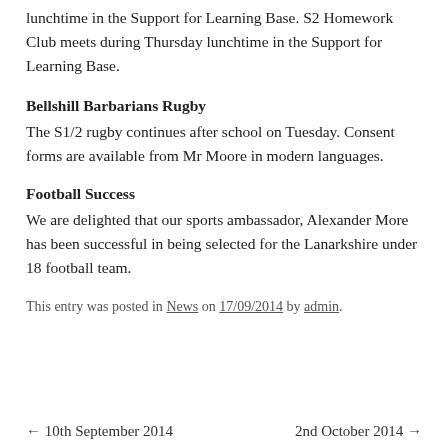lunchtime in the Support for Learning Base. S2 Homework Club meets during Thursday lunchtime in the Support for Learning Base.
Bellshill Barbarians Rugby
The S1/2 rugby continues after school on Tuesday. Consent forms are available from Mr Moore in modern languages.
Football Success
We are delighted that our sports ambassador, Alexander More has been successful in being selected for the Lanarkshire under 18 football team.
This entry was posted in News on 17/09/2014 by admin.
← 10th September 2014    2nd October 2014 →